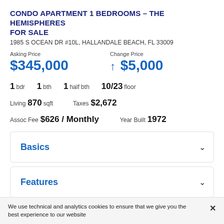CONDO APARTMENT 1 BEDROOMS - THE HEMISPHERES FOR SALE
1985 S OCEAN DR #10L, HALLANDALE BEACH, FL 33009
Asking Price $345,000
Change Price ↑ $5,000
1 bdr   1 bth   1 half bth   10/23 floor
Living 870 sqft   Taxes $2,672
Assoc Fee $626 / Monthly   Year Built 1972
Basics
Features
We use technical and analytics cookies to ensure that we give you the best experience to our website